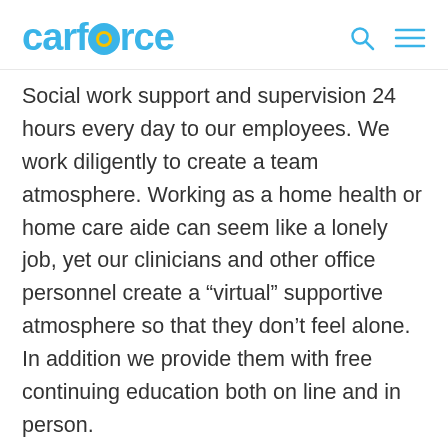careforce
Social work support and supervision 24 hours every day to our employees. We work diligently to create a team atmosphere. Working as a home health or home care aide can seem like a lonely job, yet our clinicians and other office personnel create a “virtual” supportive atmosphere so that they don’t feel alone. In addition we provide them with free continuing education both on line and in person.
“Our goal at Home Care Pulse is to empower